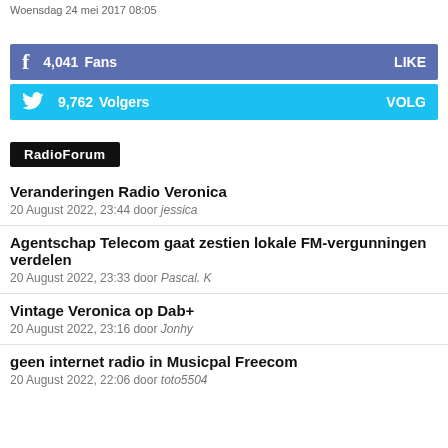Woensdag 24 mei 2017 08:05
f  4,041  Fans  LIKE
🐦  9,762  Volgers  VOLG
RadioForum
Veranderingen Radio Veronica
20 August 2022, 23:44 door jessica
Agentschap Telecom gaat zestien lokale FM-vergunningen verdelen
20 August 2022, 23:33 door Pascal. K
Vintage Veronica op Dab+
20 August 2022, 23:16 door Jonhy
geen internet radio in Musicpal Freecom
20 August 2022, 22:06 door toto5504